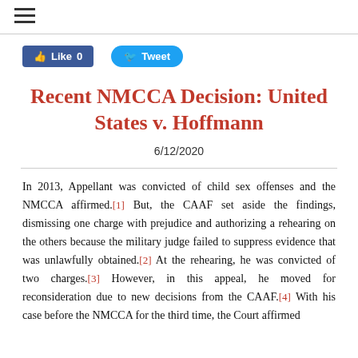≡ (hamburger menu)
[Figure (other): Facebook Like button (0 likes) and Twitter Tweet button]
Recent NMCCA Decision: United States v. Hoffmann
6/12/2020
In 2013, Appellant was convicted of child sex offenses and the NMCCA affirmed.[1] But, the CAAF set aside the findings, dismissing one charge with prejudice and authorizing a rehearing on the others because the military judge failed to suppress evidence that was unlawfully obtained.[2] At the rehearing, he was convicted of two charges.[3] However, in this appeal, he moved for reconsideration due to new decisions from the CAAF.[4] With his case before the NMCCA for the third time, the Court affirmed